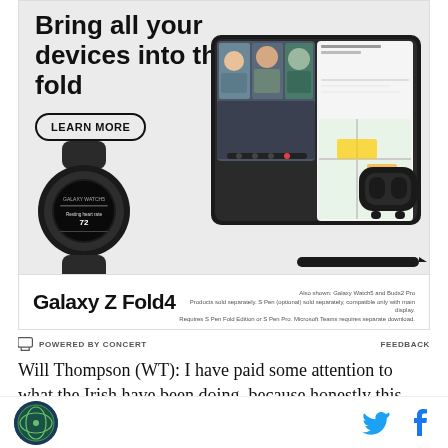[Figure (photo): Samsung Galaxy Z Fold4 advertisement showing the phone unfolded with a video call, alongside a Galaxy Watch5 and Galaxy Buds2 Pro. Text reads 'Bring all your devices into the fold' with a 'LEARN MORE' button. Bottom reads 'Galaxy Z Fold4' with product disclaimer text.]
⊏ POWERED BY CONCERT    FEEDBACK
Will Thompson (WT): I have paid some attention to what the Irish have been doing, because honestly this game on Saturday has been circled on my calendar for awhile. Really excited for the Pack to finally play Notre
[Figure (logo): Circular logo in bottom left footer]
[Figure (illustration): Twitter bird icon and Facebook f icon in bottom right footer]